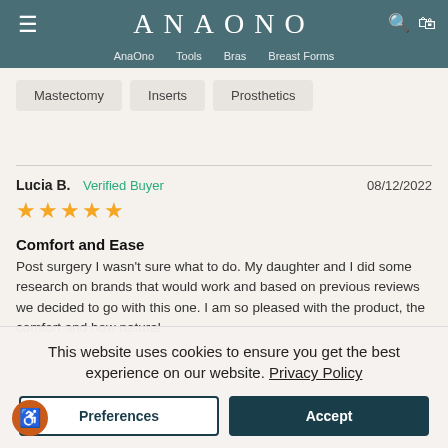ANAONO — Navigation: AnaOno, Tools, Bras, Breast Forms
Mastectomy
Inserts
Prosthetics
Lucia B.   Verified Buyer   08/12/2022   ★★★★★
Comfort and Ease
Post surgery I wasn't sure what to do. My daughter and I did some research on brands that would work and based on previous reviews we decided to go with this one. I am so pleased with the product, the comfort and how natural
This website uses cookies to ensure you get the best experience on our website. Privacy Policy
Preferences
Accept